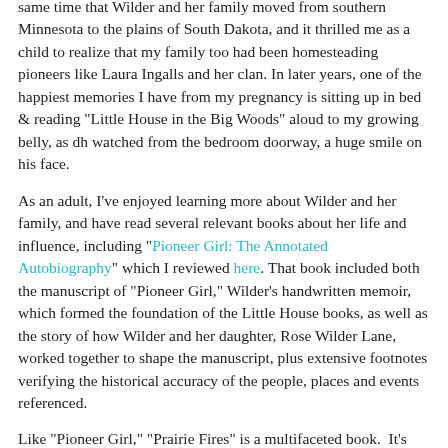same time that Wilder and her family moved from southern Minnesota to the plains of South Dakota, and it thrilled me as a child to realize that my family too had been homesteading pioneers like Laura Ingalls and her clan. In later years, one of the happiest memories I have from my pregnancy is sitting up in bed & reading "Little House in the Big Woods" aloud to my growing belly, as dh watched from the bedroom doorway, a huge smile on his face.
As an adult, I've enjoyed learning more about Wilder and her family, and have read several relevant books about her life and influence, including "Pioneer Girl: The Annotated Autobiography" which I reviewed here. That book included both the manuscript of "Pioneer Girl," Wilder's handwritten memoir, which formed the foundation of the Little House books, as well as the story of how Wilder and her daughter, Rose Wilder Lane, worked together to shape the manuscript, plus extensive footnotes verifying the historical accuracy of the people, places and events referenced.
Like "Pioneer Girl," "Prairie Fires" is a multifaceted book. It's not just a biography of Laura but also the story of her family - her family of origin, including her parents' families and...